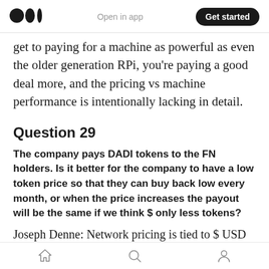Medium logo | Open in app | Get started
get to paying for a machine as powerful as even the older generation RPi, you're paying a good deal more, and the pricing vs machine performance is intentionally lacking in detail.
Question 29
The company pays DADI tokens to the FN holders. Is it better for the company to have a low token price so that they can buy back low every month, or when the price increases the payout will be the same if we think $ only less tokens?
Joseph Denne: Network pricing is tied to $ USD value at the moment, as it is currency that is
Home | Search | Profile